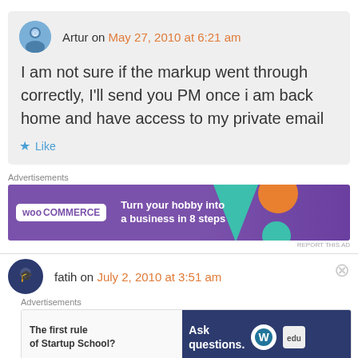Artur on May 27, 2010 at 6:21 am
I am not sure if the markup went through correctly, I'll send you PM once i am back home and have access to my private email
Like
Advertisements
[Figure (screenshot): WooCommerce ad banner: Turn your hobby into a business in 8 steps]
REPORT THIS AD
fatih on July 2, 2010 at 3:51 am
Advertisements
[Figure (screenshot): Ad banner: The first rule of Startup School? Ask questions. WordPress logo.]
REPORT THIS AD